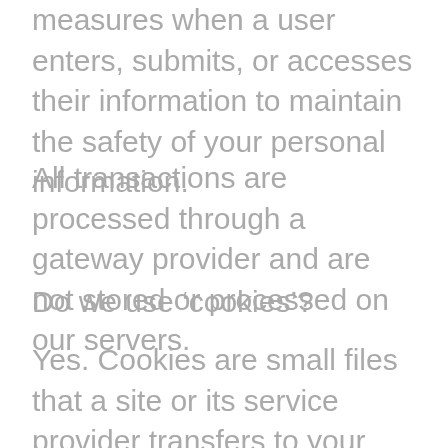measures when a user enters, submits, or accesses their information to maintain the safety of your personal information.
All transactions are processed through a gateway provider and are not stored or processed on our servers.
Do we use ‘cookies’?
Yes. Cookies are small files that a site or its service provider transfers to your computer’s hard drive through your Web browser (if you allow) that enables the site’s or service provider’s systems to recognize your browser and capture and